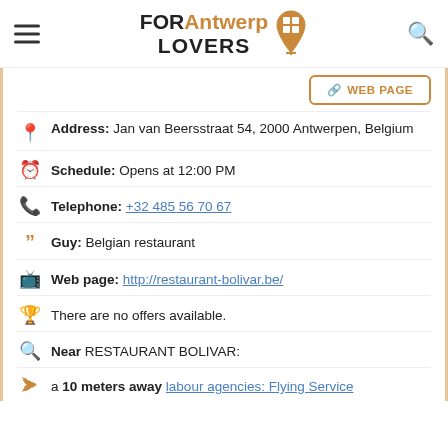FOR Antwerp LOVERS
WEB PAGE
Address: Jan van Beersstraat 54, 2000 Antwerpen, Belgium
Schedule: Opens at 12:00 PM
Telephone: +32 485 56 70 67
Guy: Belgian restaurant
Web page: http://restaurant-bolivar.be/
There are no offers available.
Near RESTAURANT BOLIVAR:
a 10 meters away labour agencies: Flying Service